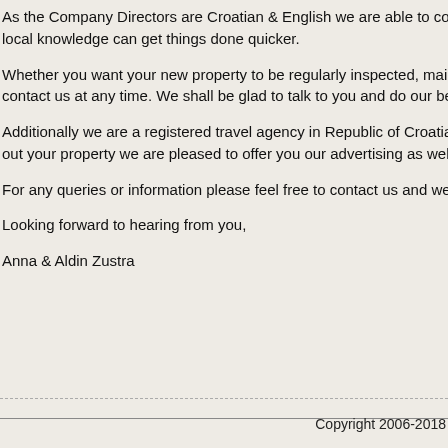As the Company Directors are Croatian & English we are able to communicate clearly and our local knowledge can get things done quicker.
Whether you want your new property to be regularly inspected, maintained, have work carried out, contact us at any time. We shall be glad to talk to you and do our best to help you sort it.
Additionally we are a registered travel agency in Republic of Croatia and offer broad tourism services. To rent out your property we are pleased to offer you our advertising as well as letting management services.
For any queries or information please feel free to contact us and we shall be pleased to assist you.
Looking forward to hearing from you,
Anna & Aldin Zustra
Copyright 2006-2018